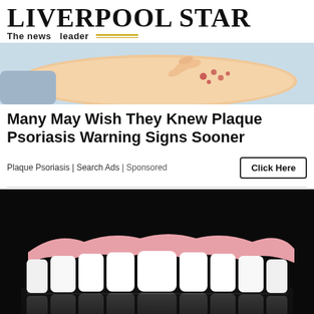LIVERPOOL STAR
The news leader
[Figure (illustration): Illustration of a person scratching their arm showing psoriasis symptoms on a light blue/peach background]
Many May Wish They Knew Plaque Psoriasis Warning Signs Sooner
Plaque Psoriasis | Search Ads | Sponsored
Click Here
[Figure (photo): Close-up photo of a full set of white ceramic dental crowns/veneers with pink gum-colored base, reflected on a dark black surface]